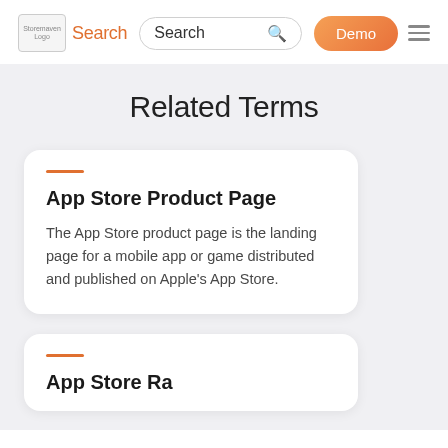Storemaven Logo Search Demo
Related Terms
App Store Product Page
The App Store product page is the landing page for a mobile app or game distributed and published on Apple's App Store.
App Store Ra...